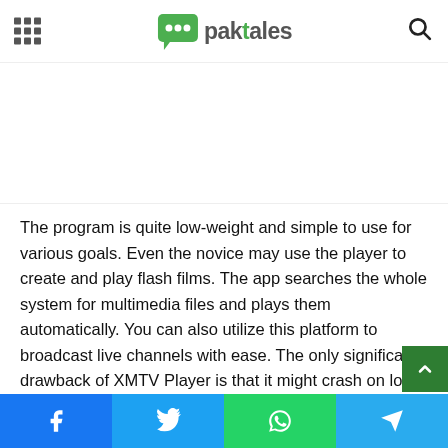paktales
[Figure (other): Advertisement/empty white space area below header]
The program is quite low-weight and simple to use for various goals. Even the novice may use the player to create and play flash films. The app searches the whole system for multimedia files and plays them automatically. You can also utilize this platform to broadcast live channels with ease. The only significant drawback of XMTV Player is that it might crash on low-end PCs, and its interface is somewhat complicated.
Facebook | Twitter | WhatsApp | Telegram